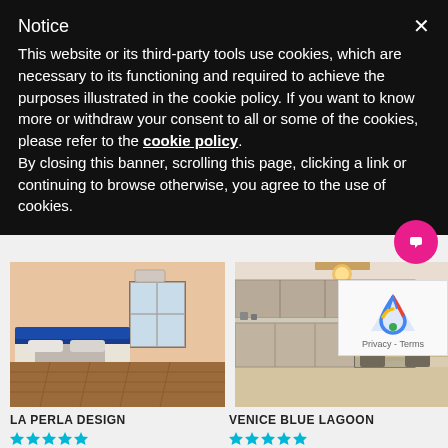Notice
This website or its third-party tools use cookies, which are necessary to its functioning and required to achieve the purposes illustrated in the cookie policy. If you want to know more or withdraw your consent to all or some of the cookies, please refer to the cookie policy.
By closing this banner, scrolling this page, clicking a link or continuing to browse otherwise, you agree to the use of cookies.
[Figure (photo): Bedroom with blue leather bed frame and parquet floor - La Perla Design apartment]
[Figure (photo): Modern kitchen and dining area with overhead pendant light - Venice Blue Lagoon apartment]
LA PERLA DESIGN
VENICE BLUE LAGOON